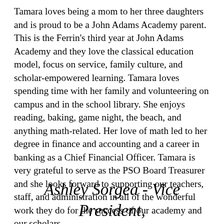Tamara loves being a mom to her three daughters and is proud to be a John Adams Academy parent. This is the Ferrin's third year at John Adams Academy and they love the classical education model, focus on service, family culture, and scholar-empowered learning. Tamara loves spending time with her family and volunteering on campus and in the school library. She enjoys reading, baking, game night, the beach, and anything math-related. Her love of math led to her degree in finance and accounting and a career in banking as a Chief Financial Officer. Tamara is very grateful to serve as the PSO Board Treasurer and she looks forward to supporting our teachers, staff, and administration in all of the wonderful work they do for the success of our academy and our scholars.
Ashley Sorgea - Vice President, Elementary